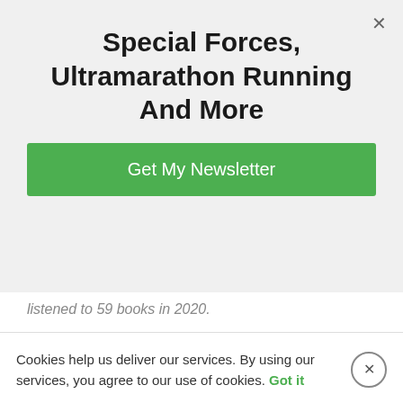Special Forces, Ultramarathon Running And More
Get My Newsletter
listened to 59 books in 2020.
And that was with a May start. So in 7.5 months, I got through around 7.86 books a month.
It's difficult to describe what that has given me in terms of personal growth – and I DON'T expect it to continue at the same velocity in 2021…although let's see what happens haha I do have a 5-month head start 🙂
Cookies help us deliver our services. By using our services, you agree to our use of cookies. Got it